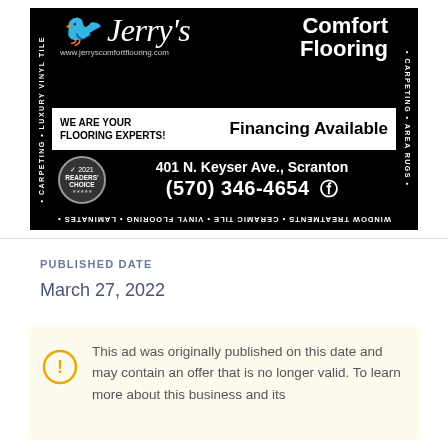[Figure (photo): Jerry's Comfort Flooring advertisement. Black background with white text. Shows business name, website www.jerryscomfortflooring.com, tagline WE ARE YOUR FLOORING EXPERTS!, Financing Available, address 401 N. Keyser Ave., Scranton, phone (570) 346-4654, Readers Choice 2021 badge, Facebook icon, and decorative text strips on sides and bottom listing flooring products.]
PUBLISHED DATE
March 27, 2022
This ad was originally published on this date and may contain an offer that is no longer valid. To learn more about this business and its